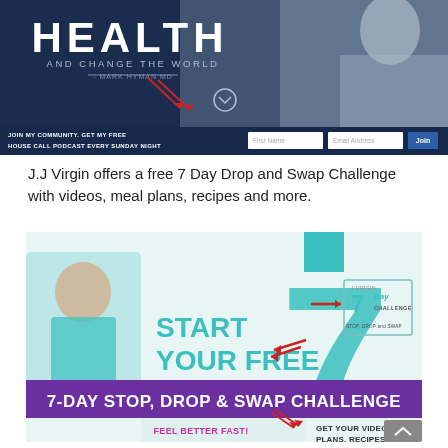[Figure (screenshot): Screenshot of Mark Hyman MD website banner with 'HEALTH AND CHANGE THE WORLD' heading, join community form with First Name, Email Address fields and Join button, and red arrows pointing to form.]
J.J Virgin offers a free 7 Day Drop and Swap Challenge with videos, meal plans, recipes and more.
[Figure (screenshot): Screenshot of J.J Virgin 7-Day Stop, Drop & Swap Challenge banner with 'START YOUR FREE' teal text, '7-DAY STOP, DROP & SWAP CHALLENGE' purple banner, 'FEEL BETTER FAST!' and 'GET YOUR VIDEOS, PLANS, RECIPES & M...' text, large teal '7' numeral graphic, woman in teal outfit, and 7 Day Challenge logo with red arrows.]